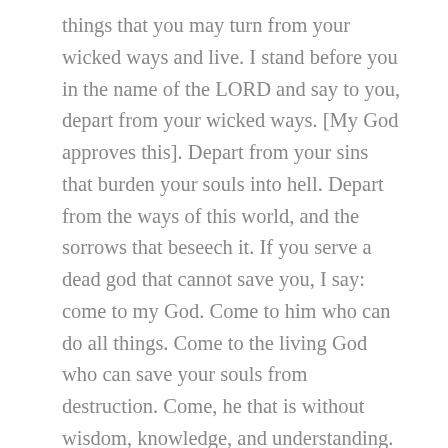things that you may turn from your wicked ways and live. I stand before you in the name of the LORD and say to you, depart from your wicked ways. [My God approves this]. Depart from your sins that burden your souls into hell. Depart from the ways of this world, and the sorrows that beseech it. If you serve a dead god that cannot save you, I say: come to my God. Come to him who can do all things. Come to the living God who can save your souls from destruction. Come, he that is without wisdom, knowledge, and understanding. Come, and my God will give you some. [My God approves this]. I have told you many times, glory shall be glory; and glory is the LORD my God. And who shall say otherwise, let them stand? Let them stand up, and let the vanities of their hearts fall to the ground. Let them stand up, and they shall see the works of He that